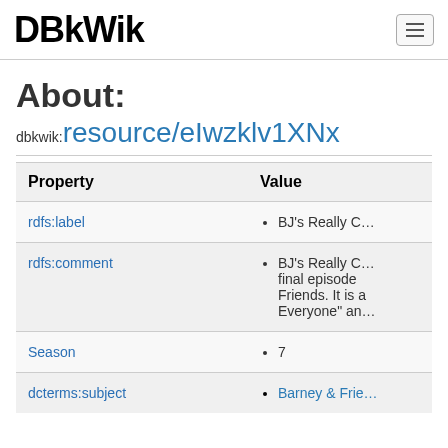DBkWik
About:
dbkwik:resource/eIwzklv1XNx
| Property | Value |
| --- | --- |
| rdfs:label | • BJ's Really C… |
| rdfs:comment | • BJ's Really C… final episode Friends. It is a Everyone" an… |
| Season | • 7 |
| dcterms:subject | • Barney & Frie… |